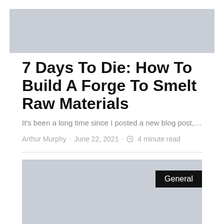[Figure (photo): Gray placeholder image at top of page]
7 Days To Die: How To Build A Forge To Smelt Raw Materials
It's been a long time since I posted a new blog post,...
Arthur Murphy · June 22, 2021 · 4 minute read
[Figure (photo): Gray placeholder image with General badge overlay]